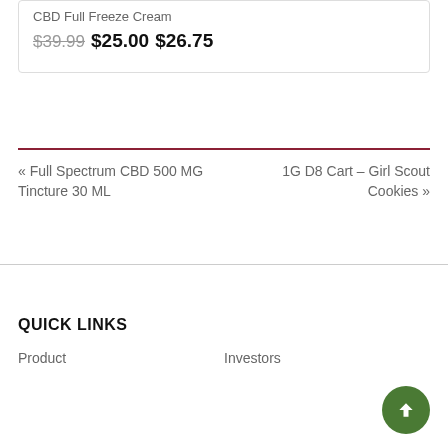CBD Full Freeze Cream
$39.99 $25.00 $26.75
« Full Spectrum CBD 500 MG Tincture 30 ML
1G D8 Cart – Girl Scout Cookies »
QUICK LINKS
Product
Investors